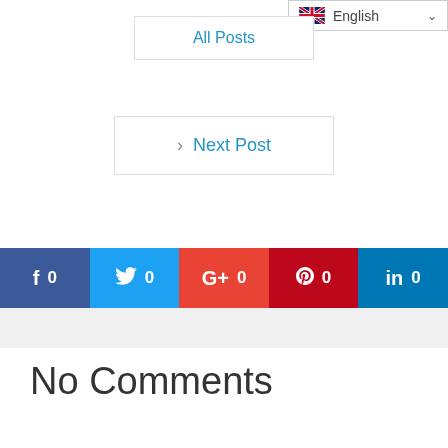All Posts
English
Next Post
f 0  🐦 0  G+ 0  P 0  in 0
No Comments